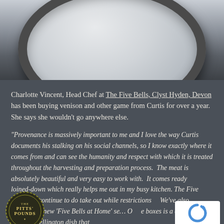[Figure (photo): Close-up photo of a dark-rimmed ceramic plate or pan seen from above, on a wooden surface, dark background fading into grey.]
Charlotte Vincent, Head Chef at The Five Bells, Clyst Hyden, Devon has been buying venison and other game from Curtis for over a year. She says she wouldn't go anywhere else.
“Provenance is massively important to me and I love the way Curtis documents his stalking on his social channels, so I know exactly where it comes from and can see the humanity and respect with which it is treated throughout the harvesting and preparation process.  The meat is absolutely beautiful and very easy to work with.  It comes ready loined-down which really helps me out in my busy kitchen. The Five Bells will continue to do take out while restrictions... We've also launched a new 'Five Bells at Home' se... One of the boxes is a delicious Venison Wellington dish that...